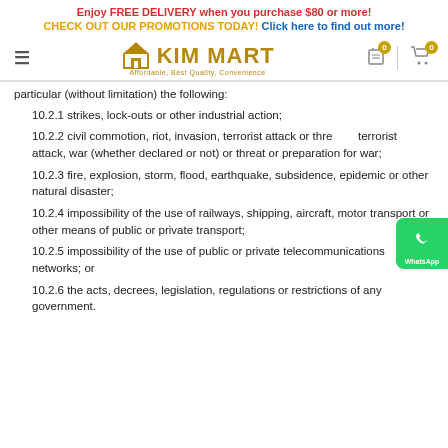Enjoy FREE DELIVERY when you purchase $80 or more!
CHECK OUT OUR PROMOTIONS TODAY! Click here to find out more!
[Figure (logo): Kim Mart logo with house icon and tagline Affordable, Best Quality, Convenience]
particular (without limitation) the following:
10.2.1 strikes, lock-outs or other industrial action;
10.2.2 civil commotion, riot, invasion, terrorist attack or threat of terrorist attack, war (whether declared or not) or threat or preparation for war;
10.2.3 fire, explosion, storm, flood, earthquake, subsidence, epidemic or other natural disaster;
10.2.4 impossibility of the use of railways, shipping, aircraft, motor transport or other means of public or private transport;
10.2.5 impossibility of the use of public or private telecommunications networks; or
10.2.6 the acts, decrees, legislation, regulations or restrictions of any government.